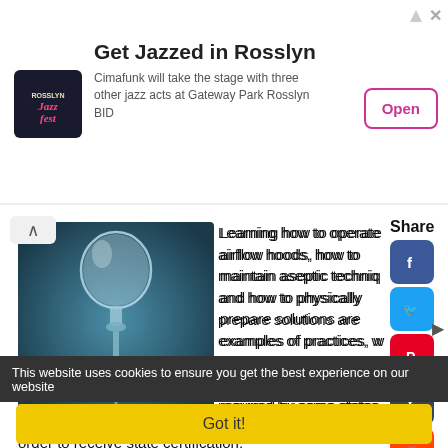[Figure (advertisement): Rosslyn Jazzfest advertisement banner: logo on left, title 'Get Jazzed in Rosslyn', subtitle about Cimafunk at Gateway Park Rosslyn BID, Open button on right]
[Figure (photo): Medical/pharmacy photo showing an IV drip bag and syringe setup on a blue background]
Learning how to operate airflow hoods, how to maintain aseptic technique and how to physically prepare solutions are examples of practices, which should be learned in a classroom setting and may even be required by some states in order to receive state certification.
A career in this field is a wise choice as the job of pharmacy technician has been listed as one of the top growing career fields in America.
This website uses cookies to ensure you get the best experience on our website
Got it!